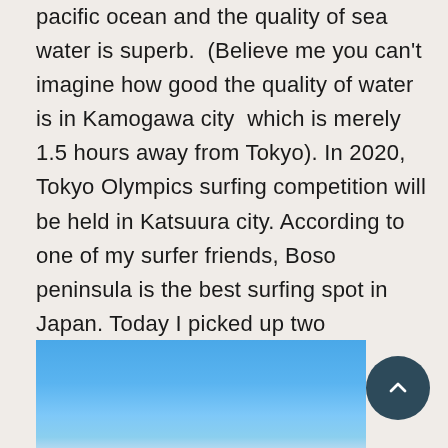pacific ocean and the quality of sea water is superb.  (Believe me you can't imagine how good the quality of water is in Kamogawa city  which is merely 1.5 hours away from Tokyo). In 2020, Tokyo Olympics surfing competition will be held in Katsuura city. According to one of my surfer friends, Boso peninsula is the best surfing spot in Japan. Today I picked up two interesting properties in Boso Peninsula, Chiba prefecture.
[Figure (photo): Photo of blue sky, partially visible at the bottom of the page]